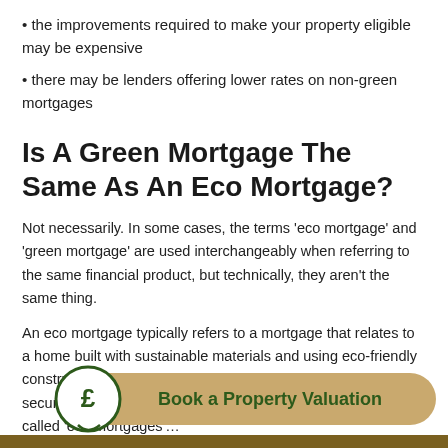• the improvements required to make your property eligible may be expensive
• there may be lenders offering lower rates on non-green mortgages
Is A Green Mortgage The Same As An Eco Mortgage?
Not necessarily. In some cases, the terms 'eco mortgage' and 'green mortgage' are used interchangeably when referring to the same financial product, but technically, they aren't the same thing.
An eco mortgage typically refers to a mortgage that relates to a home built with sustainable materials and using eco-friendly construction m... Such properties can be trickier to secure finance on, and... products called 'ec...